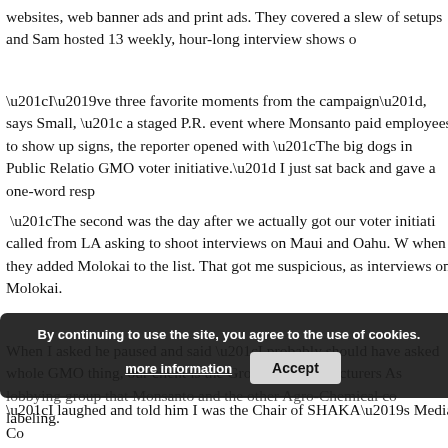websites, web banner ads and print ads. They covered a slew of setups and Sam hosted 13 weekly, hour-long interview shows o...
“I’ve three favorite moments from the campaign”, says Small, “... a staged P.R. event where Monsanto paid employees to show up... signs, the reporter opened with “The big dogs in Public Relatio... GMO voter initiative.” I just sat back and gave a one-word resp...
“The second was the day after we actually got our voter initiati... called from LA asking to shoot interviews on Maui and Oahu. W... when they added Molokai to the list. That got me suspicious, as... interviews on Molokai.
When I asked he paused and said “I probably should have asked... whole GMO thing, our client is the Groceries Manufacturers As... lobbying group that Monsanto and the other Agro-Chemical co... labeling.
By continuing to use the site, you agree to the use of cookies.
“I laughed and told him I was the Chair of SHAKA’s Media Co...